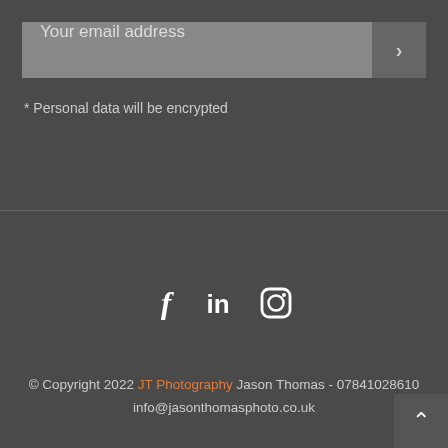Your email address
* Personal data will be encrypted
[Figure (infographic): Social media icons: Facebook (f), LinkedIn (in), Instagram (camera icon)]
© Copyright 2022 JT Photography Jason Thomas - 07841028610 info@jasonthomasphoto.co.uk